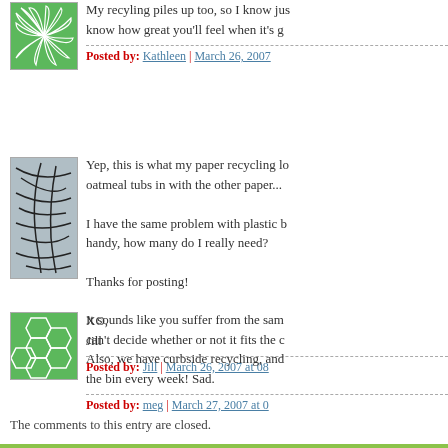[Figure (illustration): Green circular wave/pinwheel avatar icon]
My recyling piles up too, so I know jus know how great you'll feel when it's g
Posted by: Kathleen | March 26, 2007
[Figure (illustration): Abstract black lines on gray/blue background avatar]
Yep, this is what my paper recycling lo oatmeal tubs in with the other paper...

I have the same problem with plastic b handy, how many do I really need?

Thanks for posting!

XO,
Jill
Posted by: Jill | March 26, 2007 at 08
[Figure (illustration): Green geometric/honeycomb pattern avatar]
It sounds like you suffer from the sam can't decide whether or not it fits the c Also, we have curbside recycling, and the bin every week! Sad.
Posted by: meg | March 27, 2007 at 0
The comments to this entry are closed.